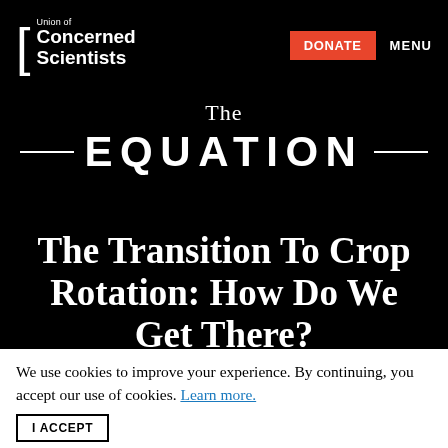Union of Concerned Scientists | DONATE | MENU
The EQUATION
The Transition To Crop Rotation: How Do We Get There?
October 30, 2012 | 10:09 am
We use cookies to improve your experience. By continuing, you accept our use of cookies. Learn more.
I ACCEPT